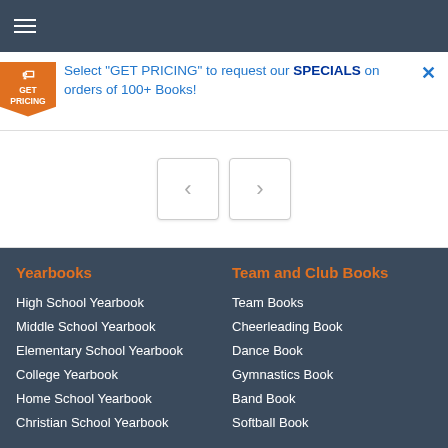Navigation menu
Select "GET PRICING" to request our SPECIALS on orders of 100+ Books!
[Figure (screenshot): Slider navigation area with left and right arrow buttons]
Yearbooks
Team and Club Books
High School Yearbook
Middle School Yearbook
Elementary School Yearbook
College Yearbook
Home School Yearbook
Christian School Yearbook
Team Books
Cheerleading Book
Dance Book
Gymnastics Book
Band Book
Softball Book